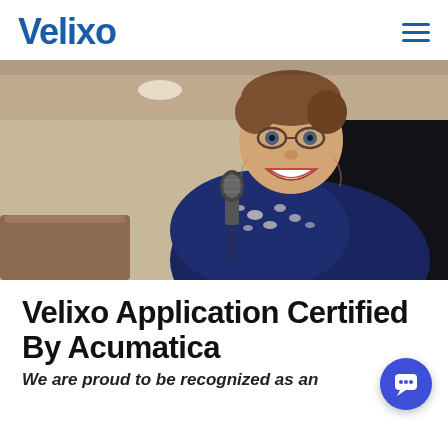Velixo
[Figure (photo): A smiling man with short brown hair holding a microphone, wearing a dark blue floral/Hawaiian shirt, photographed at an event with a blurred background showing beige walls and lighting.]
Velixo Application Certified By Acumatica
We are proud to be recognized as an